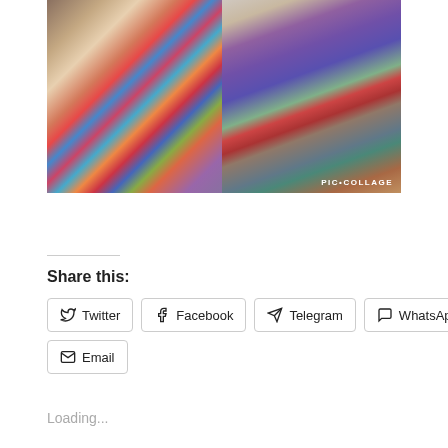[Figure (photo): Photo collage of two images side by side showing indigenous Andean people at a market. Left image shows a woman carrying a child on her back wrapped in colorful traditional textile. Right image shows an outdoor market scene with people in traditional clothing. PIC•COLLAGE watermark visible in bottom right.]
Share this:
Twitter
Facebook
Telegram
WhatsApp
Email
Loading...